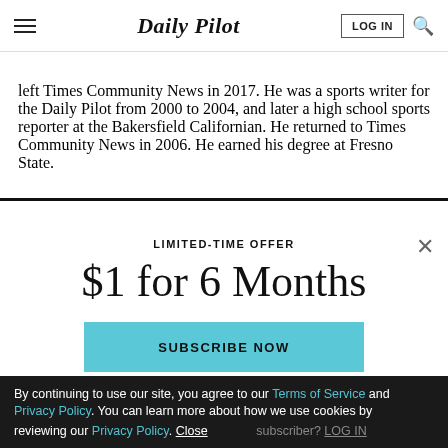Daily Pilot
left Times Community News in 2017. He was a sports writer for the Daily Pilot from 2000 to 2004, and later a high school sports reporter at the Bakersfield Californian. He returned to Times Community News in 2006. He earned his degree at Fresno State.
LIMITED-TIME OFFER
$1 for 6 Months
SUBSCRIBE NOW
Already a subscriber? LOG IN
By continuing to use our site, you agree to our Terms of Service and Privacy Policy. You can learn more about how we use cookies by reviewing our Privacy Policy. Close